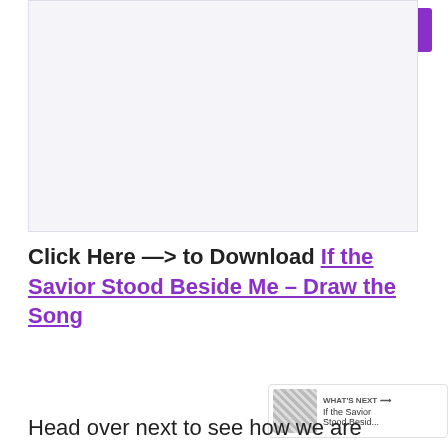[Figure (other): Translate button in purple at top right]
[Figure (other): Advertisement placeholder box with light purple/grey background]
Click Here —> to Download If the Savior Stood Beside Me – Draw the Song
[Figure (other): Heart/like button (teal circle) with count 10 and share button below]
[Figure (other): WHAT'S NEXT arrow widget showing 'If the Savior Stood Besid...' with thumbnail]
Head over next to see how we are